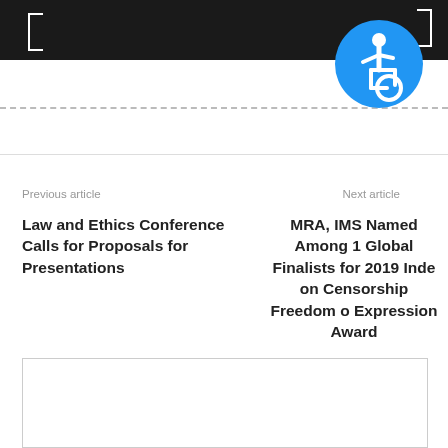[Figure (illustration): Dark header bar with bracket/window icons in white on left and right]
[Figure (logo): Blue circular accessibility icon (wheelchair symbol) overlapping the header bar]
Previous article
Next article
Law and Ethics Conference Calls for Proposals for Presentations
MRA, IMS Named Among 1 Global Finalists for 2019 Inde on Censorship Freedom o Expression Award